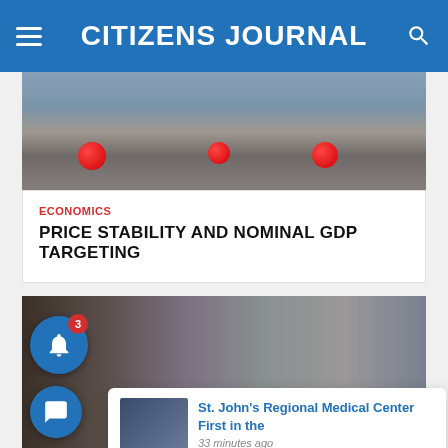CITIZENS JOURNAL
[Figure (photo): Street scene with red bollard balls on pavement outside a building]
ECONOMICS
PRICE STABILITY AND NOMINAL GDP TARGETING
[Figure (photo): Close-up of person's fist with group of people standing in background near a fence]
St. John's Regional Medical Center First in the
33 minutes ago